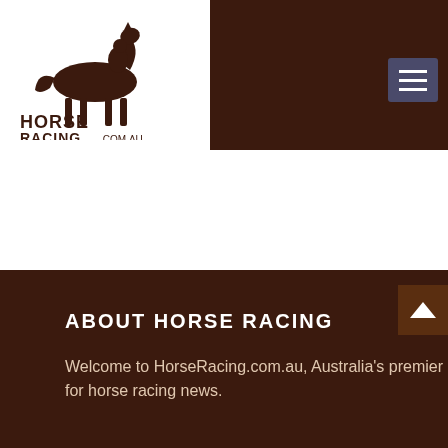[Figure (logo): HorseRacing.com.au logo with horse and jockey silhouette on white background]
[Figure (photo): Ladbrokes advertisement banner with SIGN IN button and jockeys in red silks. Text: Eligibility requirements apply. T&Cs apply and available on website. Gamble responsibly. www.gamblinghelponline.org.au. 1800 858 858]
ABOUT HORSE RACING
Welcome to HorseRacing.com.au, Australia's premier site for horse racing news.